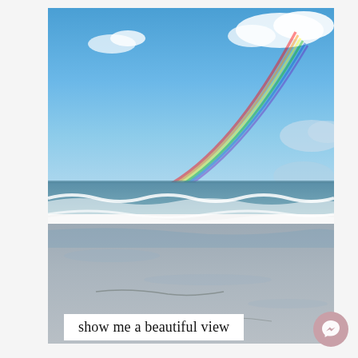[Figure (photo): Beach scene photograph showing a wide sandy beach with ocean waves, a blue sky with scattered clouds, and a rainbow arching from the upper right down toward the horizon over the water.]
show me a beautiful view